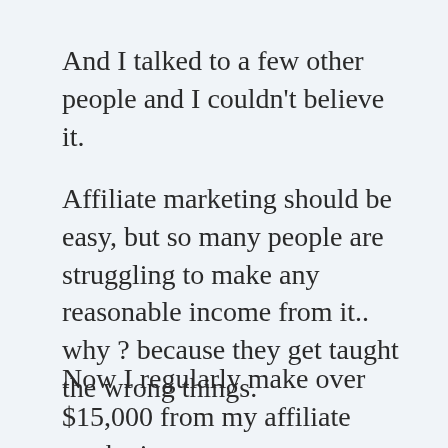And I talked to a few other people and I couldn't believe it.
Affiliate marketing should be easy, but so many people are struggling to make any reasonable income from it.. why ? because they get taught the wrong things.
Now I regularly make over $15,000 from my affiliate marketing programme, so, would you like to use my blue print ?